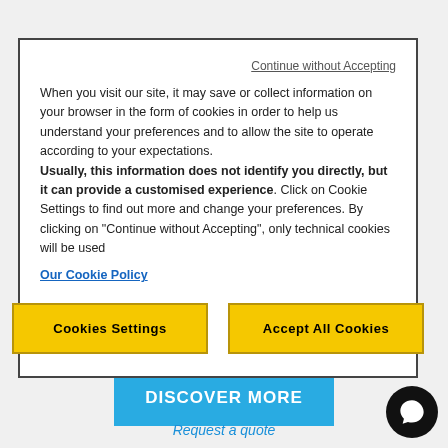Continue without Accepting
When you visit our site, it may save or collect information on your browser in the form of cookies in order to help us understand your preferences and to allow the site to operate according to your expectations. Usually, this information does not identify you directly, but it can provide a customised experience. Click on Cookie Settings to find out more and change your preferences. By clicking on "Continue without Accepting", only technical cookies will be used
Our Cookie Policy
Cookies Settings
Accept All Cookies
ARTIS® - LOW ROW
DISCOVER MORE
Request a quote